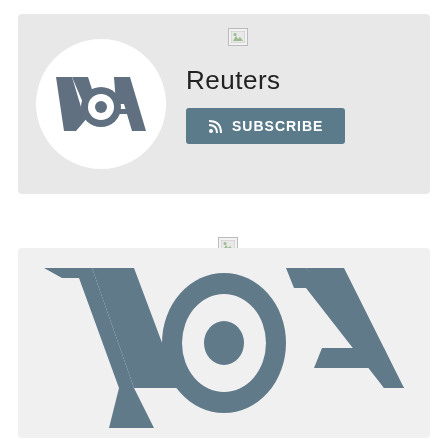[Figure (logo): VOA (Voice of America) logo in a white circle on grey background, with Reuters text and Subscribe button]
[Figure (logo): Large VOA (Voice of America) logo in slate grey color on light grey background]